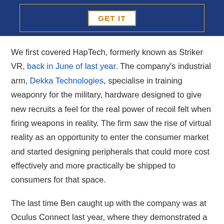[Figure (other): Dark blue banner with gold border and a white button labeled GET IT in orange text]
We first covered HapTech, formerly known as Striker VR, back in June of last year. The company's industrial arm, Dekka Technologies, specialise in training weaponry for the military, hardware designed to give new recruits a feel for the real power of recoil felt when firing weapons in reality. The firm saw the rise of virtual reality as an opportunity to enter the consumer market and started designing peripherals that could more cost effectively and more practically be shipped to consumers for that space.
The last time Ben caught up with the company was at Oculus Connect last year, where they demonstrated a prototype